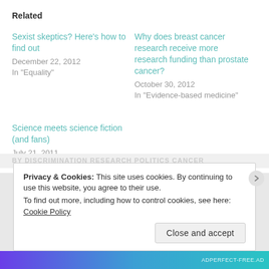Related
Sexist skeptics? Here's how to find out
December 22, 2012
In "Equality"
Why does breast cancer research receive more research funding than prostate cancer?
October 30, 2012
In "Evidence-based medicine"
Science meets science fiction (and fans)
July 21, 2011
In "Science"
Privacy & Cookies: This site uses cookies. By continuing to use this website, you agree to their use.
To find out more, including how to control cookies, see here: Cookie Policy
Close and accept